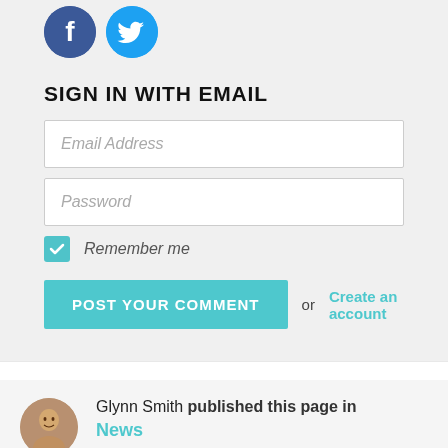[Figure (illustration): Facebook and Twitter social media icon buttons (circular, blue)]
SIGN IN WITH EMAIL
Email Address
Password
Remember me
POST YOUR COMMENT or Create an account
Glynn Smith published this page in News 1 year ago